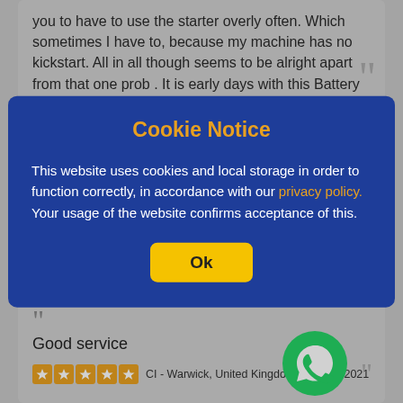you to have to use the starter overly often. Which sometimes I have to, because my machine has no kickstart. All in all though seems to be alright apart from that one prob . It is early days with this Battery though so time may improve it - or not - I will have to wait and see....
PS - Lincolnshire, United Kingdom - 07 Oct 2021
Cookie Notice
This website uses cookies and local storage in order to function correctly, in accordance with our privacy policy. Your usage of the website confirms acceptance of this.
Ok
Good service
CI - Warwick, United Kingdom - 14 Sep 2021